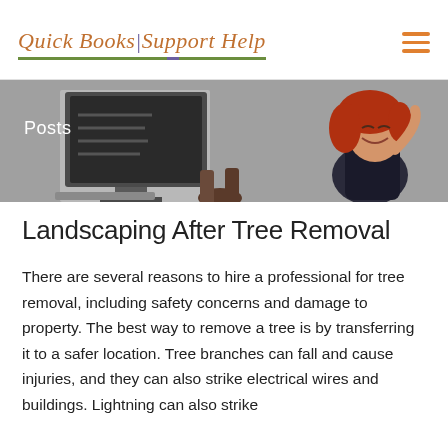Quick Books Support Help
[Figure (illustration): Website hero banner with gray background showing an illustrated scene with a computer monitor on the left and a woman with red hair leaning back relaxed on the right. White 'Posts' label overlaid on the left side.]
Landscaping After Tree Removal
There are several reasons to hire a professional for tree removal, including safety concerns and damage to property. The best way to remove a tree is by transferring it to a safer location. Tree branches can fall and cause injuries, and they can also strike electrical wires and buildings. Lightning can also strike